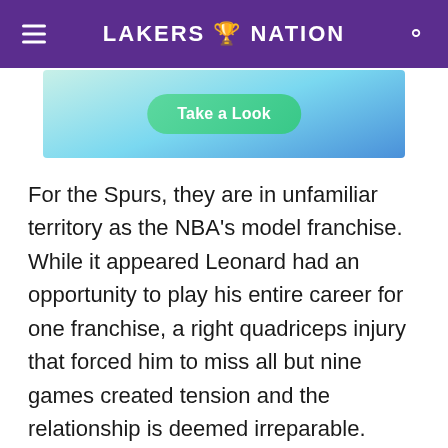LAKERS NATION
[Figure (screenshot): Advertisement banner with gradient blue/green background and a green pill-shaped button labeled 'Take a Look']
For the Spurs, they are in unfamiliar territory as the NBA's model franchise. While it appeared Leonard had an opportunity to play his entire career for one franchise, a right quadriceps injury that forced him to miss all but nine games created tension and the relationship is deemed irreparable.
As for the Lakers, they are in a good position after